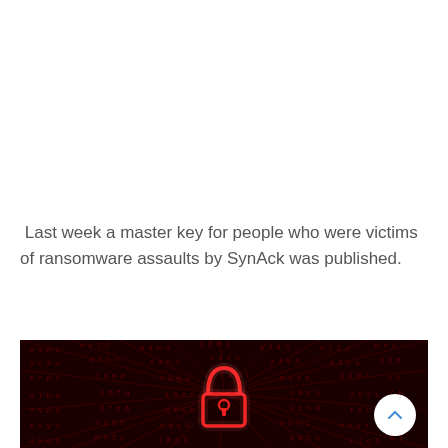Last week a master key for people who were victims of ransomware assaults by SynAck was published.
[Figure (photo): Dark red background with radiating lines of red/dark text characters and a glowing red padlock icon in the center, suggestive of a cybersecurity/ransomware concept.]